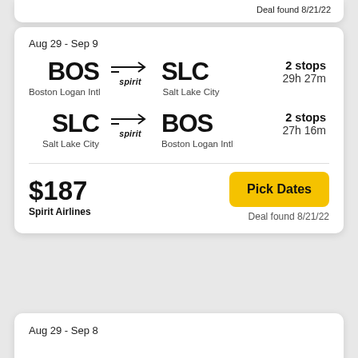Deal found 8/21/22
Aug 29 - Sep 9
BOS → SLC | Boston Logan Intl → Salt Lake City | spirit | 2 stops | 29h 27m
SLC → BOS | Salt Lake City → Boston Logan Intl | spirit | 2 stops | 27h 16m
$187
Spirit Airlines
Pick Dates
Deal found 8/21/22
Aug 29 - Sep 8